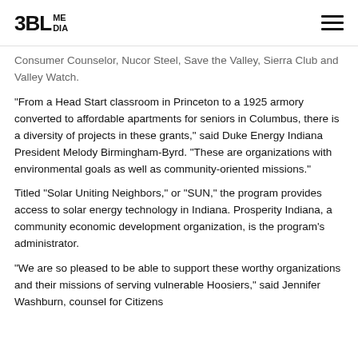3BL MEDIA
Consumer Counselor, Nucor Steel, Save the Valley, Sierra Club and Valley Watch.
"From a Head Start classroom in Princeton to a 1925 armory converted to affordable apartments for seniors in Columbus, there is a diversity of projects in these grants," said Duke Energy Indiana President Melody Birmingham-Byrd. "These are organizations with environmental goals as well as community-oriented missions."
Titled "Solar Uniting Neighbors," or "SUN," the program provides access to solar energy technology in Indiana. Prosperity Indiana, a community economic development organization, is the program's administrator.
"We are so pleased to be able to support these worthy organizations and their missions of serving vulnerable Hoosiers," said Jennifer Washburn, counsel for Citizens